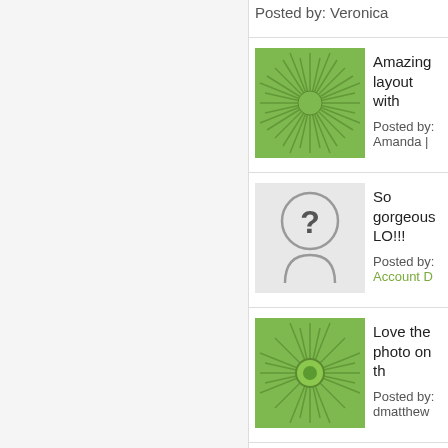Posted by: Veronica
[Figure (illustration): Green starburst/geometric pattern avatar thumbnail]
Amazing layout with
Posted by: Amanda |
[Figure (illustration): Gray background with question mark person silhouette avatar]
So gorgeous LO!!!
Posted by: Account D
[Figure (illustration): Green starburst with circle center avatar thumbnail]
Love the photo on th
Posted by: dmatthew
[Figure (illustration): Orange geometric network pattern avatar thumbnail]
This photo is absolu
Posted by: Lori Bank
[Figure (illustration): Gray-blue geometric lines pattern avatar thumbnail]
Fantastic page